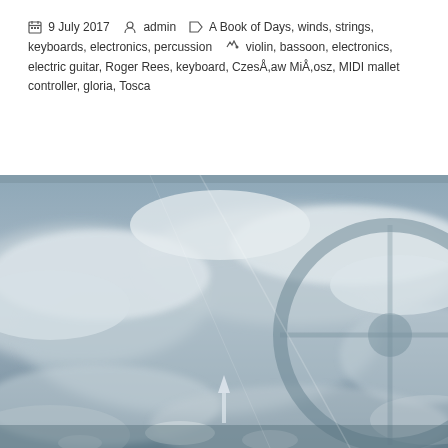9 July 2017  admin  A Book of Days, winds, strings, keyboards, electronics, percussion  violin, bassoon, electronics, electric guitar, Roger Rees, keyboard, CzesÅ‚aw MiÅ‚osz, MIDI mallet controller, gloria, Tosca
[Figure (photo): A photograph taken from inside a car, showing clouds and sky reflected in or visible through the windshield, with the steering wheel and dashboard visible. The image has a dreamy, double-exposure quality with clouds dominating the scene.]